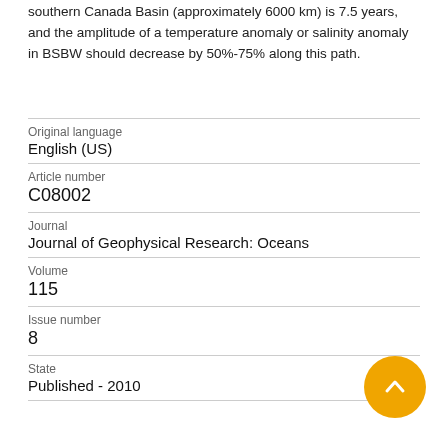southern Canada Basin (approximately 6000 km) is 7.5 years, and the amplitude of a temperature anomaly or salinity anomaly in BSBW should decrease by 50%-75% along this path.
Original language
English (US)
Article number
C08002
Journal
Journal of Geophysical Research: Oceans
Volume
115
Issue number
8
State
Published - 2010